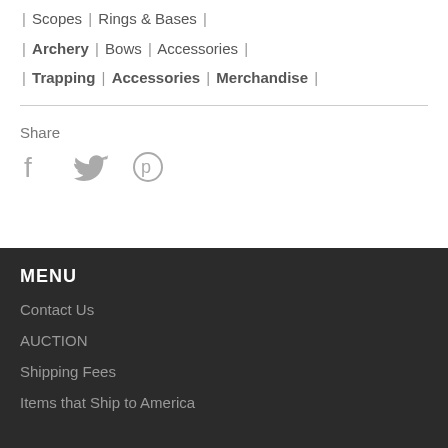| Scopes | Rings & Bases |
| Archery | Bows | Accessories |
| Trapping | Accessories | Merchandise |
Share
[Figure (other): Social share icons: Facebook, Twitter, Pinterest]
MENU
Contact Us
AUCTION
Shipping Fees
Items that Ship to America